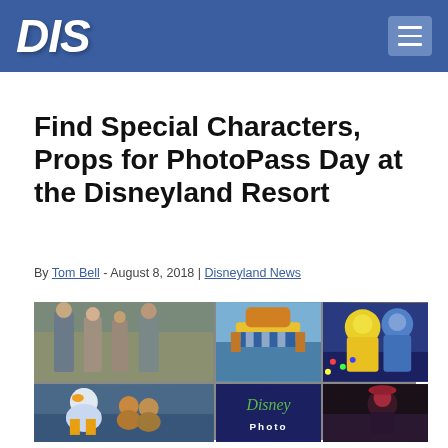DIS
Find Special Characters, Props for PhotoPass Day at the Disneyland Resort
By Tom Bell - August 8, 2018 | Disneyland News
[Figure (photo): Collage of six Disney/Disneyland photos: family posing in the park, Dumbo ride with blue striped tent, Joy and Sadness Inside Out characters, Donald Duck and Chip & Dale, Disney logo, and a character in dark setting]